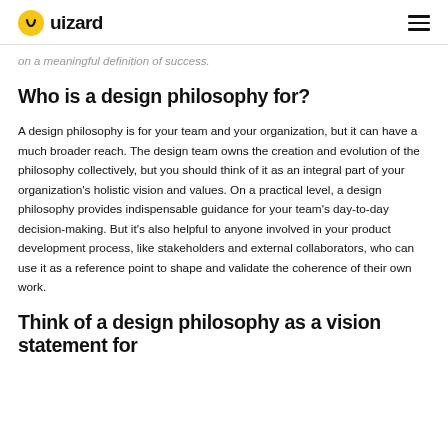uizard
on a meaningful definition of success.
Who is a design philosophy for?
A design philosophy is for your team and your organization, but it can have a much broader reach. The design team owns the creation and evolution of the philosophy collectively, but you should think of it as an integral part of your organization's holistic vision and values. On a practical level, a design philosophy provides indispensable guidance for your team's day-to-day decision-making. But it's also helpful to anyone involved in your product development process, like stakeholders and external collaborators, who can use it as a reference point to shape and validate the coherence of their own work.
Think of a design philosophy as a vision statement for